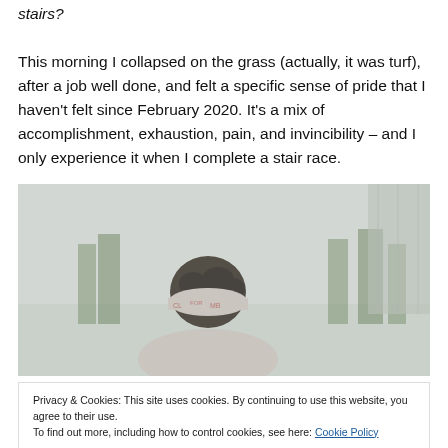stairs?
This morning I collapsed on the grass (actually, it was turf), after a job well done, and felt a specific sense of pride that I haven't felt since February 2020. It's a mix of accomplishment, exhaustion, pain, and invincibility – and I only experience it when I complete a stair race.
[Figure (photo): A person seen from behind wearing a patterned bandana/headwear, surrounded by a misty/foggy outdoor environment with green trees visible in the background.]
Privacy & Cookies: This site uses cookies. By continuing to use this website, you agree to their use.
To find out more, including how to control cookies, see here: Cookie Policy
Close and accept
[Figure (photo): Bottom portion of another photo, showing blue color, partially visible.]